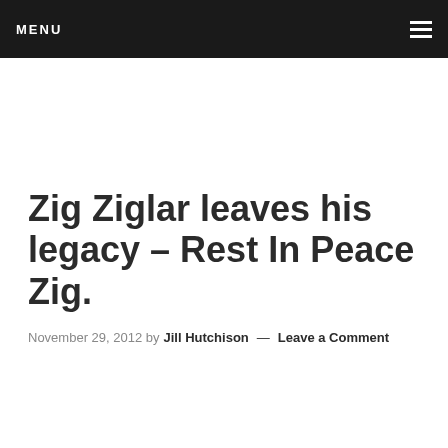MENU
Zig Ziglar leaves his legacy – Rest In Peace Zig.
November 29, 2012 by Jill Hutchison — Leave a Comment